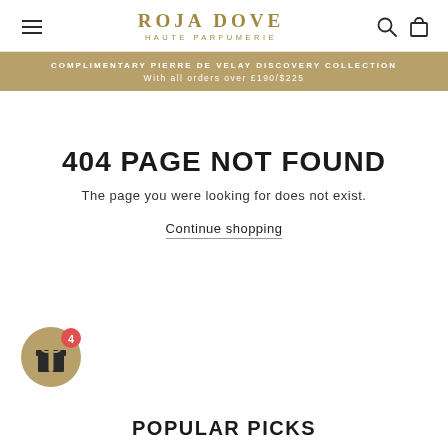ROJA DOVE HAUTE PARFUMERIE
COMPLIMENTARY PIERRE DE VELAY DISCOVERY COLLECTION
With all orders over £190/$225
404 PAGE NOT FOUND
The page you were looking for does not exist.
Continue shopping
[Figure (illustration): Gold circular gift button with gift box icon and red badge showing number 4]
POPULAR PICKS